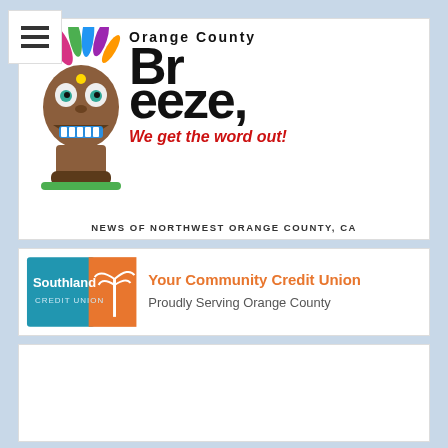[Figure (logo): Orange County Breeze newspaper logo featuring a tiki mascot character with colorful feathered headdress, the text 'Orange County Breeze' in bold handwritten style, tagline 'We get the word out!' in red italic, and subtitle 'NEWS OF NORTHWEST ORANGE COUNTY, CA']
[Figure (logo): Southland Credit Union advertisement banner. Blue and orange logo on left with palm tree icon, text reading 'Your Community Credit Union' in orange and 'Proudly Serving Orange County' below.]
[Figure (other): White/light gray empty content area at bottom of page, partially visible]